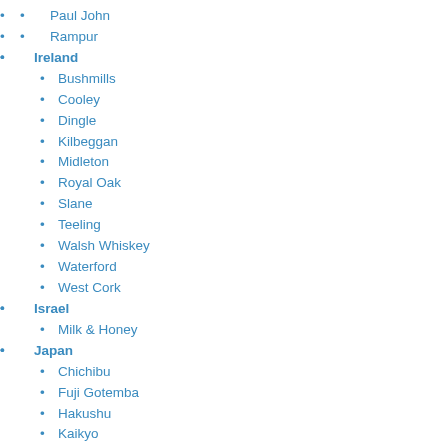Paul John
Rampur
Ireland
Bushmills
Cooley
Dingle
Kilbeggan
Midleton
Royal Oak
Slane
Teeling
Walsh Whiskey
Waterford
West Cork
Israel
Milk & Honey
Japan
Chichibu
Fuji Gotemba
Hakushu
Kaikyo
Karuizawa
Miyagikyo
Shinshu Mars
White Oak
Yamazaki
Yoichi